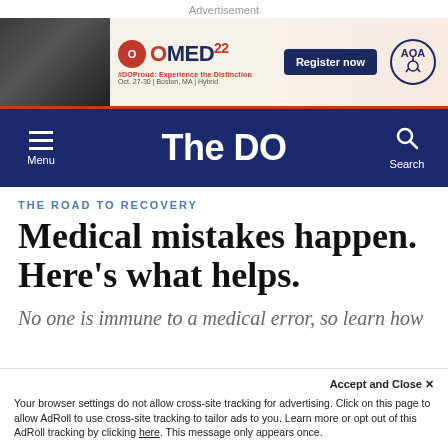Advertisement
[Figure (screenshot): OMED22 conference advertisement banner with photo, logo, Register now button, and AOA logo]
The DO — Navigation bar with Menu and Search
THE ROAD TO RECOVERY
Medical mistakes happen. Here’s what helps.
No one is immune to a medical error, so learn how to support yourself and your colleagues.
Accept and Close ×
Your browser settings do not allow cross-site tracking for advertising. Click on this page to allow AdRoll to use cross-site tracking to tailor ads to you. Learn more or opt out of this AdRoll tracking by clicking here. This message only appears once.